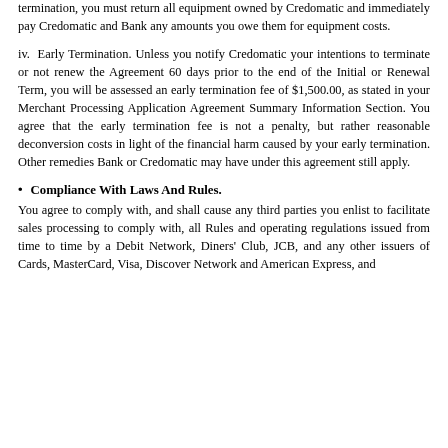termination, you must return all equipment owned by Credomatic and immediately pay Credomatic and Bank any amounts you owe them for equipment costs.
iv. Early Termination. Unless you notify Credomatic your intentions to terminate or not renew the Agreement 60 days prior to the end of the Initial or Renewal Term, you will be assessed an early termination fee of $1,500.00, as stated in your Merchant Processing Application Agreement Summary Information Section. You agree that the early termination fee is not a penalty, but rather reasonable deconversion costs in light of the financial harm caused by your early termination. Other remedies Bank or Credomatic may have under this agreement still apply.
Compliance With Laws And Rules.
You agree to comply with, and shall cause any third parties you enlist to facilitate sales processing to comply with, all Rules and operating regulations issued from time to time by a Debit Network, Diners' Club, JCB, and any other issuers of Cards, MasterCard, Visa, Discover Network and American Express, and